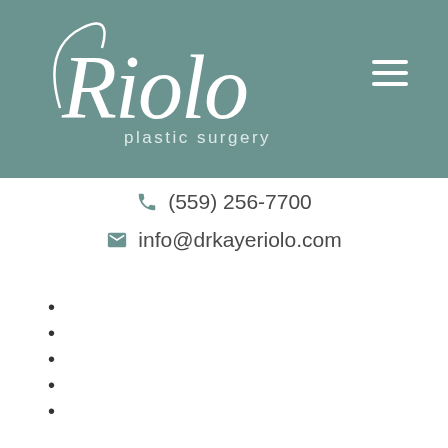[Figure (logo): Riolo Plastic Surgery logo in white script font on teal/green background with hamburger menu icon]
(559) 256-7700
info@drkayeriolo.com